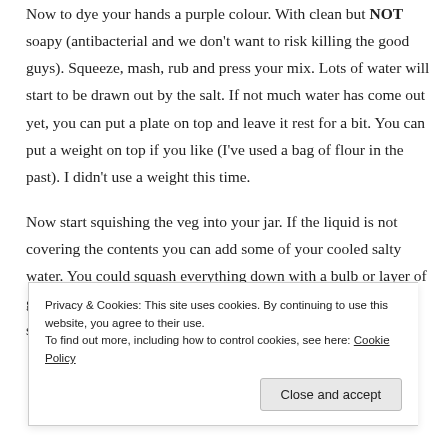Now to dye your hands a purple colour. With clean but NOT soapy (antibacterial and we don't want to risk killing the good guys). Squeeze, mash, rub and press your mix. Lots of water will start to be drawn out by the salt. If not much water has come out yet, you can put a plate on top and leave it rest for a bit. You can put a weight on top if you like (I've used a bag of flour in the past). I didn't use a weight this time.
Now start squishing the veg into your jar. If the liquid is not covering the contents you can add some of your cooled salty water. You could squash everything down with a bulb or layer of garlic cloves. But you will have some of a garlic-y flavour to sauerkraut. When doing
Privacy & Cookies: This site uses cookies. By continuing to use this website, you agree to their use.
To find out more, including how to control cookies, see here: Cookie Policy
Close and accept